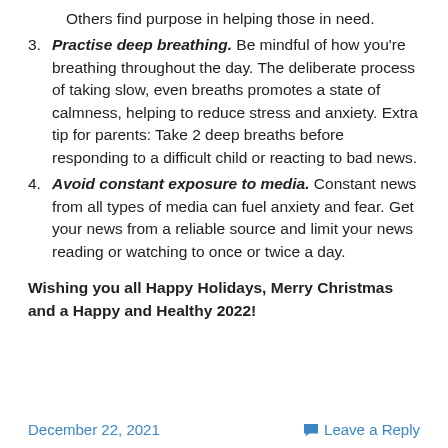Others find purpose in helping those in need.
3. Practise deep breathing. Be mindful of how you're breathing throughout the day. The deliberate process of taking slow, even breaths promotes a state of calmness, helping to reduce stress and anxiety. Extra tip for parents: Take 2 deep breaths before responding to a difficult child or reacting to bad news.
4. Avoid constant exposure to media. Constant news from all types of media can fuel anxiety and fear. Get your news from a reliable source and limit your news reading or watching to once or twice a day.
Wishing you all Happy Holidays, Merry Christmas and a Happy and Healthy 2022!
December 22, 2021   Leave a Reply